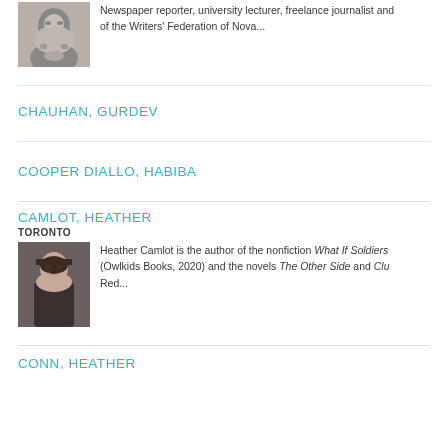[Figure (photo): Headshot of a bearded older man, cropped at top of page]
Newspaper reporter, university lecturer, freelance journalist and of the Writers' Federation of Nova...
CHAUHAN, GURDEV
COOPER DIALLO, HABIBA
CAMLOT, HEATHER
TORONTO
[Figure (photo): Headshot of a woman with dark hair]
Heather Camlot is the author of the nonfiction What If Soldiers (Owlkids Books, 2020) and the novels The Other Side and Clu Red...
CONN, HEATHER